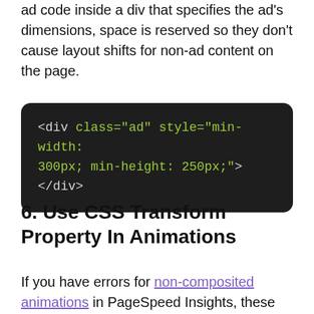ad code inside a div that specifies the ad's dimensions, space is reserved so they don't cause layout shifts for non-ad content on the page.
[Figure (screenshot): Dark code block showing HTML: <div class="ad" style="min-width: 300px; min-height: 250px;"></div>]
6. Use CSS Transform Property In Animations
If you have errors for non-composited animations in PageSpeed Insights, these also